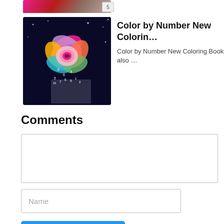[Figure (screenshot): Partial app thumbnail strip at the top (cropped view) with a badge showing '5']
[Figure (photo): App thumbnail for 'Color by Number New Coloring Book' showing a colorful rose with color-by-number overlay on dark background]
Color by Number New Colorin…
Color by Number New Coloring Book also …
Comments
Name
SUBMIT
Popular downloads
eFootball
HttpCanary
TFT
SNCE Connect
Tokuplay